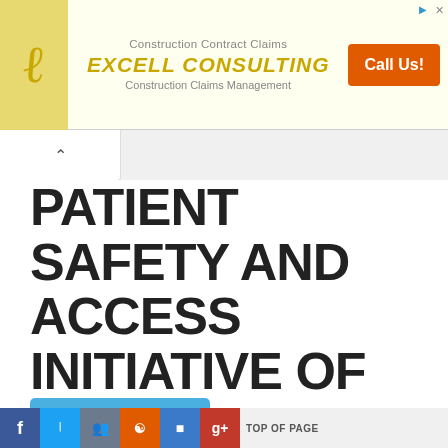[Figure (other): Advertisement banner for Excell Consulting showing logo, company name, taglines 'Construction Contract Claims' and 'Construction Claims Management', and orange Call Us! button]
PATIENT SAFETY AND ACCESS INITIATIVE OF INDIA FOUNDATION
As on: May 11, 2022
Company Size: Login to view
Track this company
TOP OF PAGE